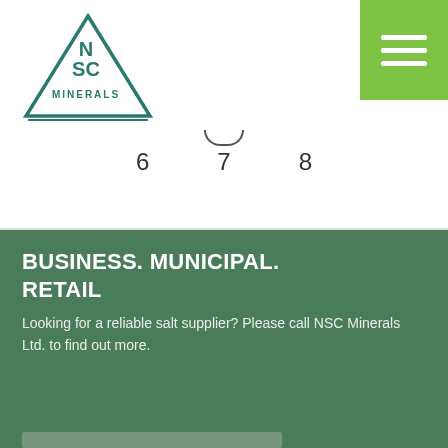[Figure (logo): NSC Minerals logo: teal triangle outline with 'N S C' stacked and 'MINERALS' text below inside the triangle]
[Figure (other): Hamburger menu button (three white horizontal bars on green background) in top-right corner]
6  7  8
BUSINESS. MUNICIPAL. RETAIL
Looking for a reliable salt supplier? Please call NSC Minerals Ltd. to find out more.